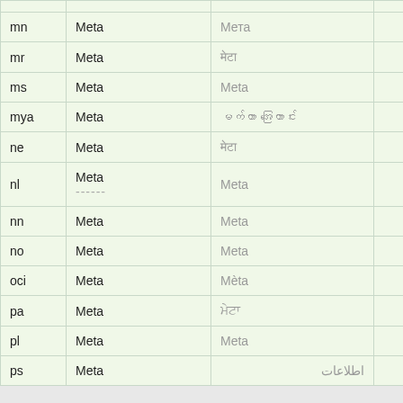| Code | English | Native | Link |
| --- | --- | --- | --- |
| mn | Meta | Мета | Details |
| mr | Meta | मेटा | Details |
| ms | Meta | Meta | Details |
| mya | Meta | မက်တာ အကြောင်း | Details |
| ne | Meta | मेटा | Details |
| nl | Meta
------ | Meta | Details |
| nn | Meta | Meta | Details |
| no | Meta | Meta | Details |
| oci | Meta | Mèta | Details |
| pa | Meta | ਮੇਟਾ | Details |
| pl | Meta | Meta | Details |
| ps | Meta | اطلاعات | Details |